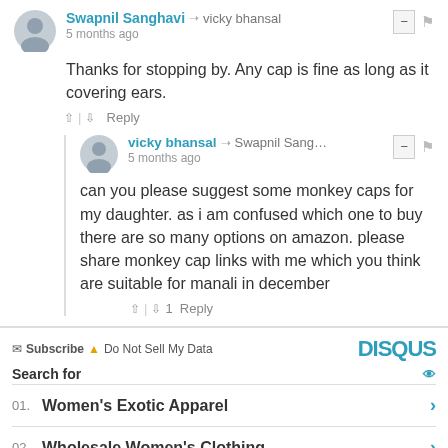Swapnil Sanghavi → vicky bhansal
5 months ago
Thanks for stopping by. Any cap is fine as long as it covering ears.
↑ | ↓   Reply
vicky bhansal → Swapnil Sang…
5 months ago
can you please suggest some monkey caps for my daughter. as i am confused which one to buy there are so many options on amazon. please share monkey cap links with me which you think are suitable for manali in december
↑ | ↓ 1   Reply
Subscribe  ▲ Do Not Sell My Data   DISQUS
Search for
01.  Women's Exotic Apparel
02.  Wholesale Women's Clothing
Yahoo! Search | Sponsored